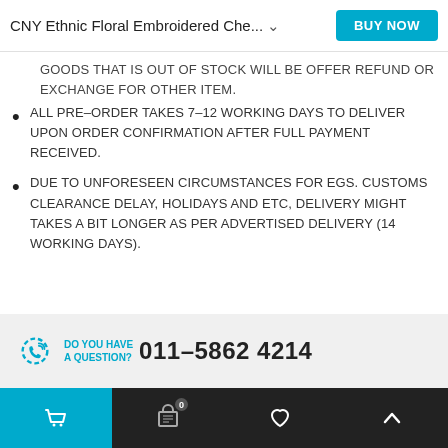CNY Ethnic Floral Embroidered Che... BUY NOW
GOODS THAT IS OUT OF STOCK WILL BE OFFER REFUND OR EXCHANGE FOR OTHER ITEM.
ALL PRE-ORDER TAKES 7-12 WORKING DAYS TO DELIVER UPON ORDER CONFIRMATION AFTER FULL PAYMENT RECEIVED.
DUE TO UNFORESEEN CIRCUMSTANCES FOR EGS. CUSTOMS CLEARANCE DELAY, HOLIDAYS AND ETC, DELIVERY MIGHT TAKES A BIT LONGER AS PER ADVERTISED DELIVERY (14 WORKING DAYS).
DO YOU HAVE A QUESTION?  011-5862 4214
Cart | Cart 0 | Wishlist | Up